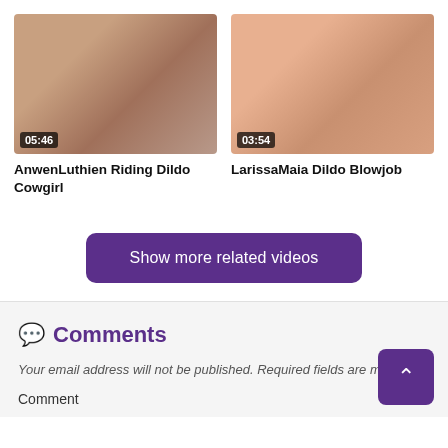[Figure (screenshot): Video thumbnail left: AnwenLuthien Riding Dildo Cowgirl, duration 05:46]
[Figure (screenshot): Video thumbnail right: LarissaMaia Dildo Blowjob, duration 03:54]
AnwenLuthien Riding Dildo Cowgirl
LarissaMaia Dildo Blowjob
Show more related videos
Comments
Your email address will not be published. Required fields are ma
Comment